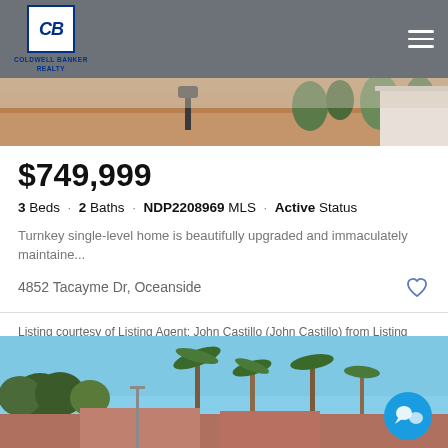[Figure (photo): Coldwell Banker Realty logo in header navigation bar with hamburger menu]
[Figure (photo): Top photo showing exterior of property with driveway, mailbox, and trees]
$749,999
3 Beds · 2 Baths · NDP2208969 MLS · Active Status
Turnkey single-level home is beautifully upgraded and immaculately maintaine...
4852 Tacayme Dr, Oceanside
Listing courtesy of Listing Agent: John Castillo (John Castillo) from Listing Office: Coldwell Banker Realty.
[Figure (photo): Bottom photo showing palm trees, blue sky, and rooftops of neighborhood]